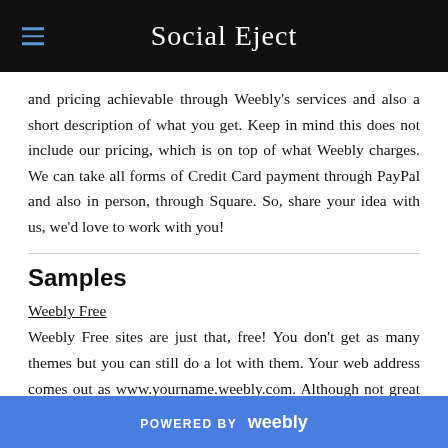Social Eject
and pricing achievable through Weebly's services and also a short description of what you get. Keep in mind this does not include our pricing, which is on top of what Weebly charges. We can take all forms of Credit Card payment through PayPal and also in person, through Square. So, share your idea with us, we'd love to work with you!
Samples
Weebly Free
Weebly Free sites are just that, free! You don't get as many themes but you can still do a lot with them. Your web address comes out as www.yourname.weebly.com. Although not great for E-Commerce, you can sell things through their Free services.
POWERED BY weebly